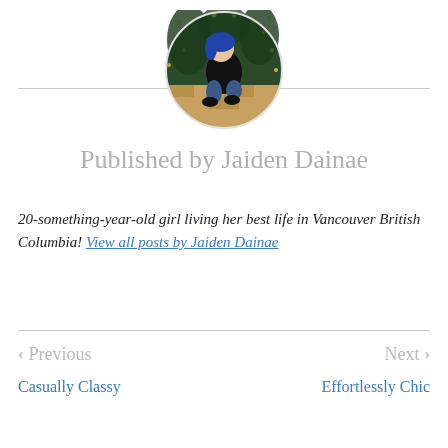[Figure (photo): Circular profile photo of Jaiden Dainae, a young woman with blue hair crouching outdoors near a lit Christmas tree]
Published by Jaiden Dainae
20-something-year-old girl living her best life in Vancouver British Columbia! View all posts by Jaiden Dainae
< Previous
Casually Classy
Next >
Effortlessly Chic